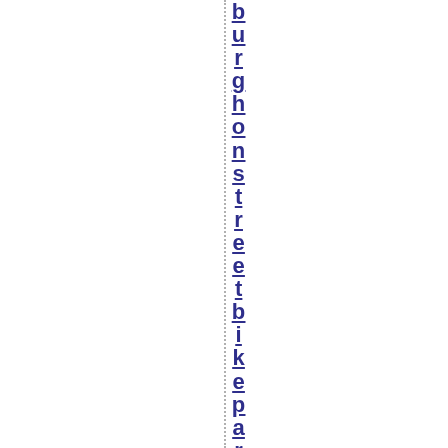burghonstreetbikeparking_howto